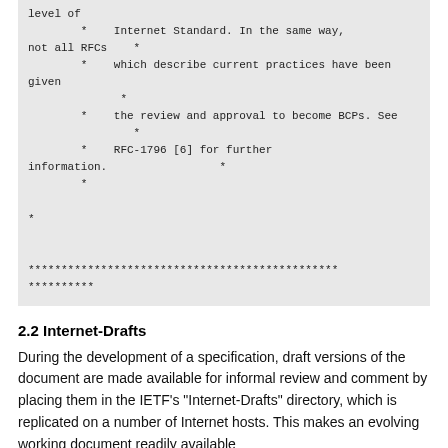level of
        *    Internet Standard. In the same way, not all RFCs    *
        *    which describe current practices have been given    *
        *    the review and approval to become BCPs. See         *
        *    RFC-1796 [6] for further information.               *
        *
*

***********************************************
**********
2.2 Internet-Drafts
During the development of a specification, draft versions of the document are made available for informal review and comment by placing them in the IETF's "Internet-Drafts" directory, which is replicated on a number of Internet hosts. This makes an evolving working document readily available